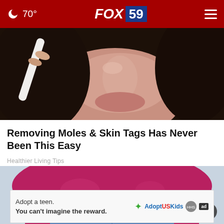🌙 70°   FOX 59   ☰
[Figure (photo): Close-up photo of a woman applying or removing a nose strip/pore strip; dark hair, visible nose and lips]
Removing Moles & Skin Tags Has Never Been This Easy
Healthier Living Tips
[Figure (photo): Photo of a woman in a magenta/pink shirt with jeans, partial body shot from waist up, with a close (dismiss) button overlay]
Adopt a teen.
You can't imagine the reward.